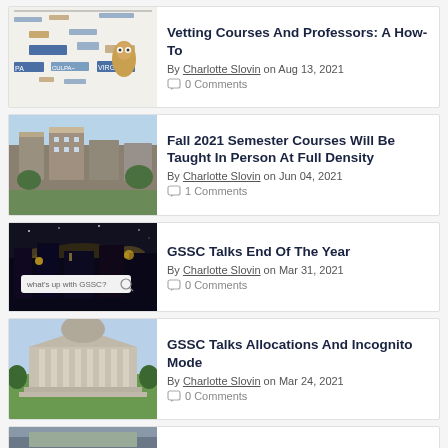[Figure (screenshot): Word cloud / tag collage image showing university course-related keywords and labels]
Vetting Courses And Professors: A How-To
By Charlotte Slovin on Aug 13, 2021
0 Comments
[Figure (photo): Aerial photo of a university campus with classical buildings]
Fall 2021 Semester Courses Will Be Taught In Person At Full Density
By Charlotte Slovin on Jun 04, 2021
1 Comments
[Figure (screenshot): Dark photo of campus at night with a search bar overlay showing 'what's up with GSSC?']
GSSC Talks End Of The Year
By Charlotte Slovin on Mar 31, 2021
0 Comments
[Figure (photo): Photo of Low Library at Columbia University with blue sky]
GSSC Talks Allocations And Incognito Mode
By Charlotte Slovin on Mar 24, 2021
0 Comments
[Figure (photo): Partial photo of a university building, partially cut off at bottom of page]